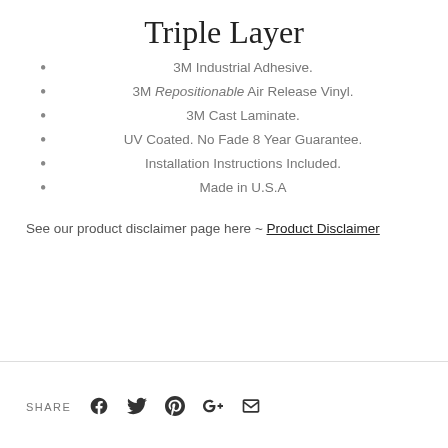Triple Layer
3M Industrial Adhesive.
3M Repositionable Air Release Vinyl.
3M Cast Laminate.
UV Coated. No Fade 8 Year Guarantee.
Installation Instructions Included.
Made in U.S.A
See our product disclaimer page here ~ Product Disclaimer
SHARE [Facebook] [Twitter] [Pinterest] [Google+] [Email]